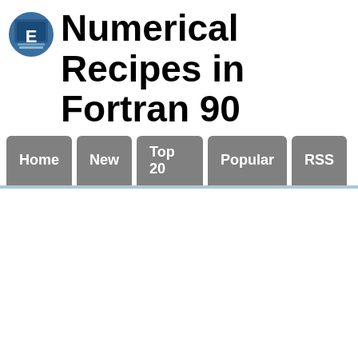Numerical Recipes in Fortran 90
[Figure (logo): Circular logo icon with blue background and white 'E' symbol]
Home
New
Top 20
Popular
RSS